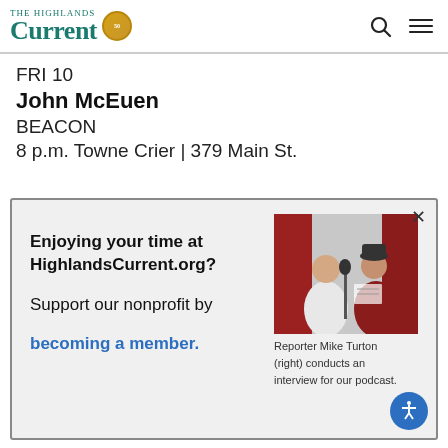The Highlands Current
FRI 10
John McEuen
BEACON
8 p.m. Towne Crier | 379 Main St.
Enjoying your time at HighlandsCurrent.org? Support our nonprofit by becoming a member.
[Figure (photo): Reporter Mike Turton (right) conducts an interview for a podcast, seated in a recording booth with red acoustic panels.]
Reporter Mike Turton (right) conducts an interview for our podcast.